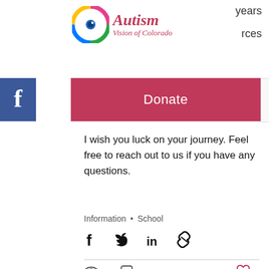[Figure (logo): Autism Vision of Colorado logo with colorful eye graphic]
years
rces
[Figure (screenshot): Facebook icon blue square]
[Figure (screenshot): Donate button in dark pink/crimson]
[Figure (screenshot): Hamburger menu icon]
I wish you luck on your journey. Feel free to reach out to us if you have any questions.
Information • School
[Figure (infographic): Social share icons: Facebook, Twitter, LinkedIn, link]
18
Recent Posts
See All
[Figure (photo): Partial photo of a person, bottom of page]